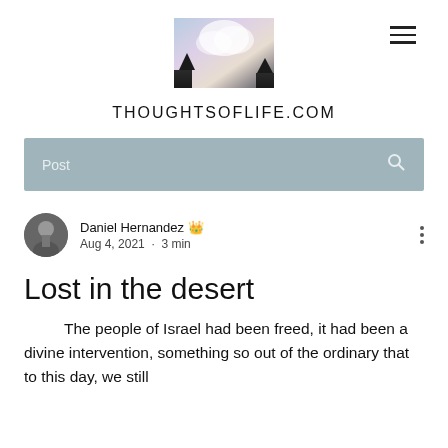[Figure (photo): Sky/clouds photo used as blog header image]
THOUGHTSOFLIFE.COM
Post
Daniel Hernandez Admin
Aug 4, 2021  •  3 min
Lost in the desert
The people of Israel had been freed, it had been a divine intervention, something so out of the ordinary that to this day, we still